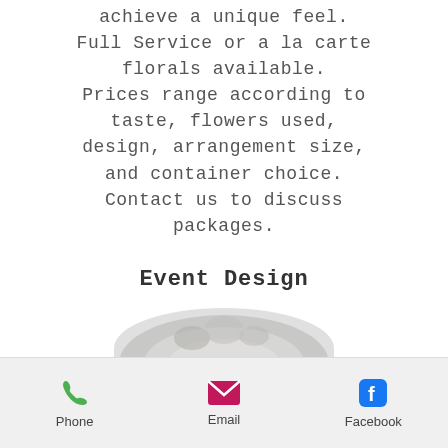achieve a unique feel. Full Service or a la carte florals available. Prices range according to taste, flowers used, design, arrangement size, and container choice. Contact us to discuss packages.
Event Design
[Figure (photo): Partial view of a floral arrangement, top portion visible at the bottom of the content area.]
Phone  Email  Facebook